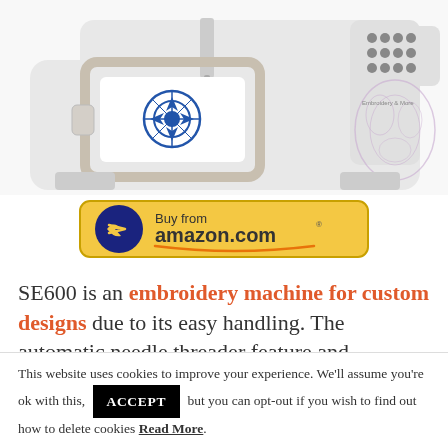[Figure (photo): A white Brother SE600 embroidery sewing machine photographed from the front, showing the embroidery hoop with a blue floral design, the arm, control panel with buttons, and decorative floral motif on the right side of the machine body.]
[Figure (other): Buy from amazon.com button — a rounded yellow/gold bordered button with dark blue circle containing the Amazon arrow logo on the left, and the text 'Buy from amazon.com' with the Amazon smile underline graphic.]
SE600 is an embroidery machine for custom designs due to its easy handling. The automatic needle threader feature and
This website uses cookies to improve your experience. We'll assume you're ok with this, ACCEPT but you can opt-out if you wish to find out how to delete cookies Read More.